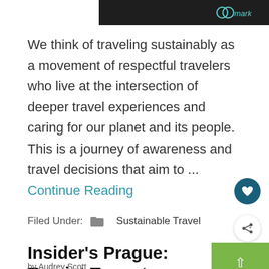[Figure (photo): Partial image at top of page showing dark rocky background with a teal/green watermark logo text reading 'mark']
We think of traveling sustainably as a movement of respectful travelers who live at the intersection of deeper travel experiences and caring for our planet and its people. This is a journey of awareness and travel decisions that aim to ... Continue Reading
Filed Under: Sustainable Travel
Insider's Prague: Tourist Traps to Avoid, Things to Do, Where to E
by Audrey Scott